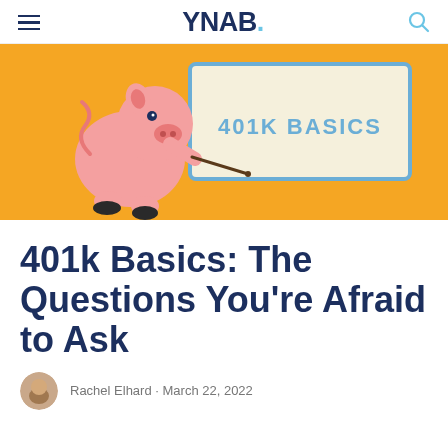YNAB.
[Figure (illustration): Cartoon pink pig holding a pointer stick next to a whiteboard reading '401K BASICS', on a yellow background]
401k Basics: The Questions You're Afraid to Ask
Rachel Elhard · March 22, 2022